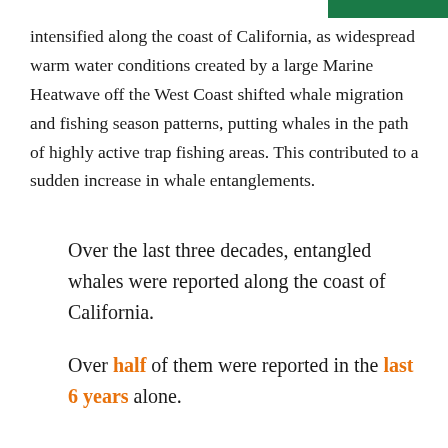intensified along the coast of California, as widespread warm water conditions created by a large Marine Heatwave off the West Coast shifted whale migration and fishing season patterns, putting whales in the path of highly active trap fishing areas. This contributed to a sudden increase in whale entanglements.
Over the last three decades, entangled whales were reported along the coast of California.
Over half of them were reported in the last 6 years alone.